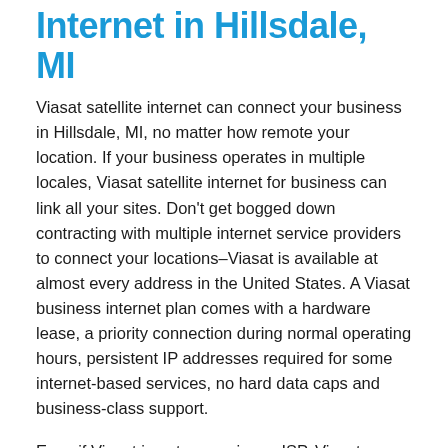Internet in Hillsdale, MI
Viasat satellite internet can connect your business in Hillsdale, MI, no matter how remote your location. If your business operates in multiple locales, Viasat satellite internet for business can link all your sites. Don't get bogged down contracting with multiple internet service providers to connect your locations–Viasat is available at almost every address in the United States. A Viasat business internet plan comes with a hardware lease, a priority connection during normal operating hours, persistent IP addresses required for some internet-based services, no hard data caps and business-class support.
Even if Viasat is not your primary ISP, Viasat business internet can provide a backup connection that will take over if cable or fiber internet go down in Hillsdale. With a redundant business connection, your business can continue to operate cash registers, update data, maintain security and operate master control systems, even if your